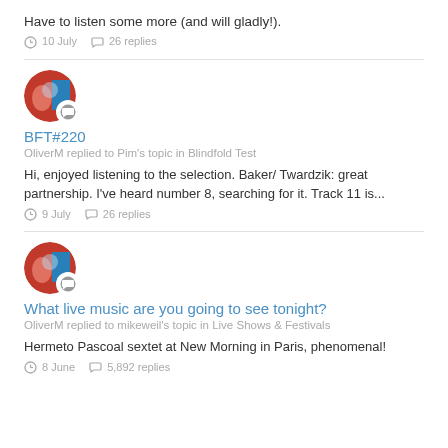Have to listen some more (and will gladly!).
10 July   26 replies
[Figure (illustration): User avatar circle with chat bubble badge icon]
BFT#220
OliverM replied to Pim's topic in Blindfold Test
Hi, enjoyed listening to the selection. Baker/ Twardzik: great partnership. I've heard number 8, searching for it. Track 11 is...
9 July   26 replies
[Figure (illustration): User avatar circle with chat bubble badge icon]
What live music are you going to see tonight?
OliverM replied to mikeweil's topic in Live Shows & Festivals
Hermeto Pascoal sextet at New Morning in Paris, phenomenal!
8 June   5,892 replies